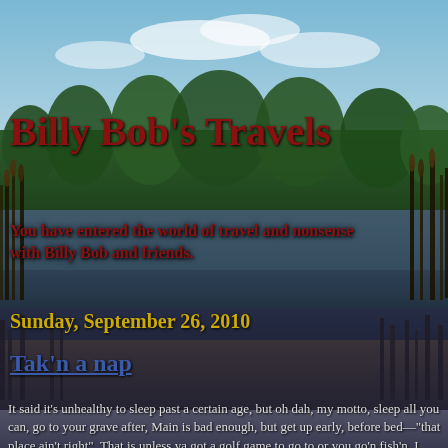[Figure (photo): Outdoor nature photo of a pond or lake with reeds/cattails in the foreground, trees reflecting in still water, blue sky with clouds in the upper portion. The lower half of the image darkens into a shadowy reflection.]
Billy Bob's Travels
You have entered the world of travel and nonsense with Billy Bob and friends.
Sunday, September 26, 2010
Tak'n a nap
It said it's unhealthy to sleep past a certain age, but oh dah, my motto, sleep all you can, go to your grave after, Main is bad enough, but get up early, before bed—"that place ain't right". That is unless ya got a golf game to go to or you go'n fish'n. I know a lot of work'n folks have to get up early, before sun light sets in, but retired folks have no cause to be out of bed that early, lessen to pee.